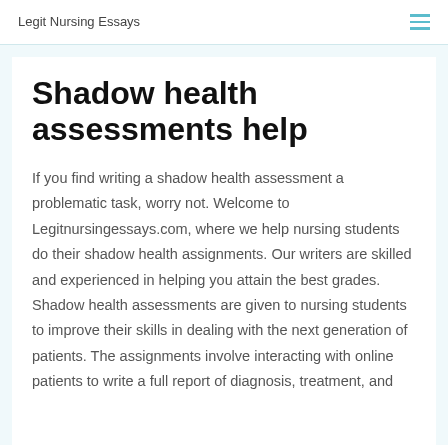Legit Nursing Essays
Shadow health assessments help
If you find writing a shadow health assessment a problematic task, worry not. Welcome to Legitnursingessays.com, where we help nursing students do their shadow health assignments. Our writers are skilled and experienced in helping you attain the best grades.
Shadow health assessments are given to nursing students to improve their skills in dealing with the next generation of patients. The assignments involve interacting with online patients to write a full report of diagnosis, treatment, and